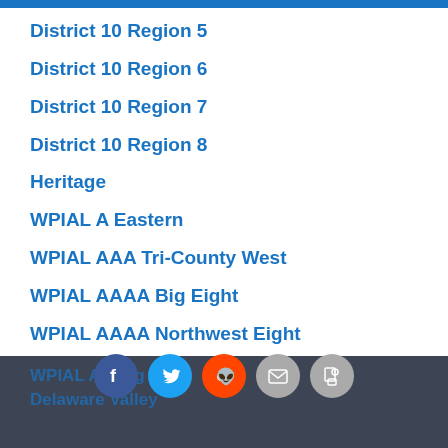District 10 Region 5
District 10 Region 6
District 10 Region 7
District 10 Region 8
Heritage
WPIAL A Eastern
WPIAL AAA Tri-County West
WPIAL AAAA Big Eight
WPIAL AAAA Northwest Eight
WPIAL AAAAA Allegheny Eight
Eastern Pennsylvania North
WPIAL AAA Big East
Delaware Valley